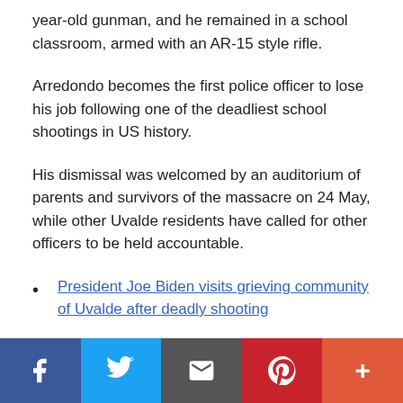year-old gunman, and he remained in a school classroom, armed with an AR-15 style rifle.
Arredondo becomes the first police officer to lose his job following one of the deadliest school shootings in US history.
His dismissal was welcomed by an auditorium of parents and survivors of the massacre on 24 May, while other Uvalde residents have called for other officers to be held accountable.
President Joe Biden visits grieving community of Uvalde after deadly shooting